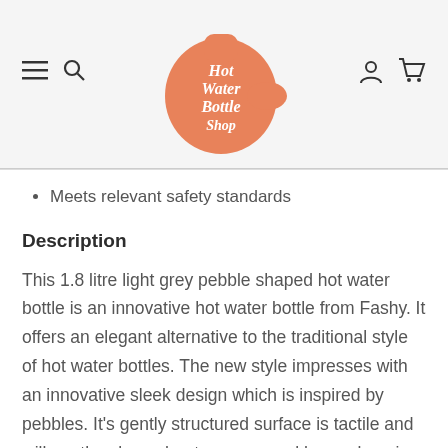Hot Water Bottle Shop — navigation header with logo
Meets relevant safety standards
Description
This 1.8 litre light grey pebble shaped hot water bottle is an innovative hot water bottle from Fashy. It offers an elegant alternative to the traditional style of hot water bottles. The new style impresses with an innovative sleek design which is inspired by pebbles. It's gently structured surface is tactile and will gently release heat over several hours, keeping you warm and cosy in the most pleasant way.
The pebble shaped hot water bottle is described as